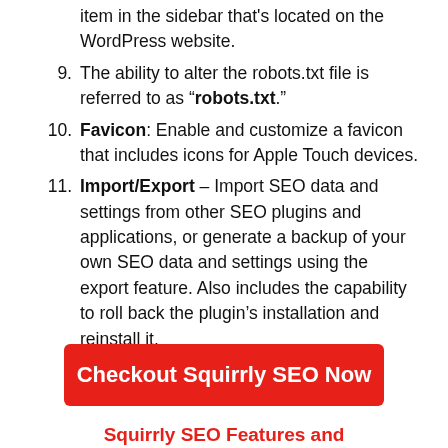item in the sidebar that's located on the WordPress website.
9. The ability to alter the robots.txt file is referred to as "robots.txt."
10. Favicon: Enable and customize a favicon that includes icons for Apple Touch devices.
11. Import/Export – Import SEO data and settings from other SEO plugins and applications, or generate a backup of your own SEO data and settings using the export feature. Also includes the capability to roll back the plugin's installation and reinstall it.
Checkout Squirrly SEO Now
Squirrly SEO Features and